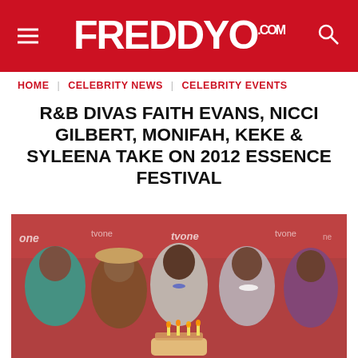FreddyO.com
HOME | CELEBRITY NEWS | CELEBRITY EVENTS
R&B DIVAS FAITH EVANS, NICCI GILBERT, MONIFAH, KEKE & SYLEENA TAKE ON 2012 ESSENCE FESTIVAL
[Figure (photo): Five women posing together in front of a TV One branded backdrop. From left: a woman in a teal jacket, a woman in a tan hat and patterned top, a woman in a light grey outfit with a blue pendant necklace, a woman in a silver/grey dress with white jewelry, and a woman in a purple top. A birthday cake with candles is visible at the bottom center.]